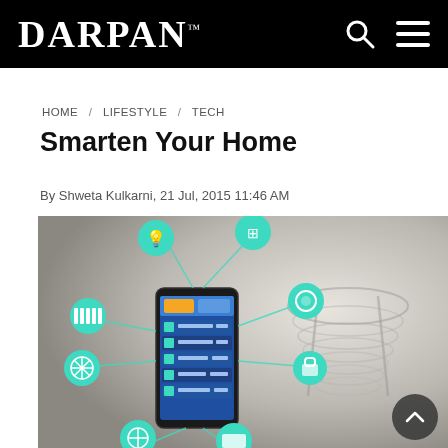DARPAN™
HOME / LIFESTYLE / TECH
Smarten Your Home
By Shweta Kulkarni, 21 Jul, 2015 11:46 AM
[Figure (photo): Smart home concept illustration showing a smartphone with a home automation app connected via teal circular icons to various smart home devices (lamp, window, washing machine, radiator, lock, fan, TV, plug), set against a blurred modern home interior with a spiral staircase.]